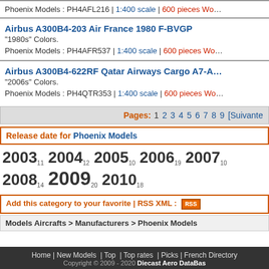Phoenix Models : PH4AFL216 | 1:400 scale | 600 pieces Wor
Airbus A300B4-203 Air France 1980 F-BVGP
"1980s" Colors.
Phoenix Models : PH4AFR537 | 1:400 scale | 600 pieces Wor
Airbus A300B4-622RF Qatar Airways Cargo A7-A
"2006s" Colors.
Phoenix Models : PH4QTR353 | 1:400 scale | 600 pieces Wo
Pages: 1 2 3 4 5 6 7 8 9 [Suivante
Release date for Phoenix Models
2003 11  2004 12  2005 10  2006 19  2007 10  2008 14  2009 20  2010 18
Add this category to your favorite | RSS XML : RSS
Models Aircrafts > Manufacturers > Phoenix Models
Home | New Models | Top | Top rates | Picks | French Directory
Copyright © 2009 - 2020 Diecast Aero DataBas